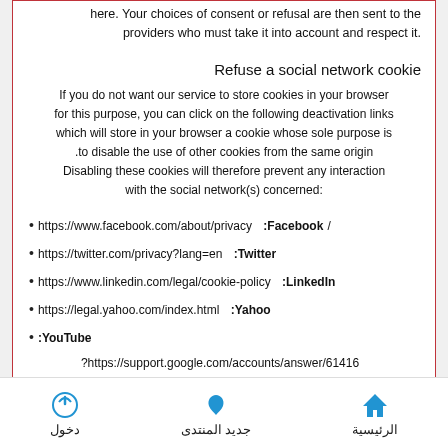here. Your choices of consent or refusal are then sent to the providers who must take it into account and respect it.
Refuse a social network cookie
If you do not want our service to store cookies in your browser for this purpose, you can click on the following deactivation links which will store in your browser a cookie whose sole purpose is to disable the use of other cookies from the same origin. Disabling these cookies will therefore prevent any interaction with the social network(s) concerned:
Facebook: https://www.facebook.com/about/privacy/
Twitter: https://twitter.com/privacy?lang=en
LinkedIn: https://www.linkedin.com/legal/cookie-policy
Yahoo: https://legal.yahoo.com/index.html
YouTube: https://support.google.com/accounts/answer/61416?hl=en
[Figure (illustration): Dark circular scroll-to-top button with upward chevron arrow]
دخول | جديد المنتدى | الرئيسية